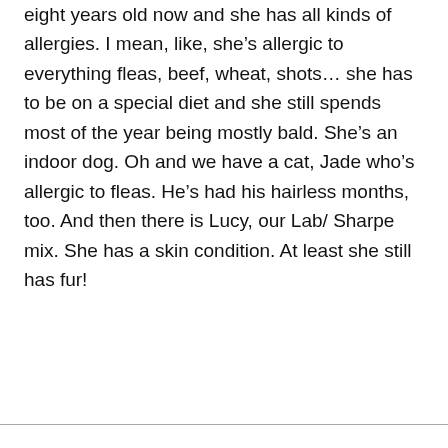eight years old now and she has all kinds of allergies. I mean, like, she's allergic to everything fleas, beef, wheat, shots… she has to be on a special diet and she still spends most of the year being mostly bald. She's an indoor dog. Oh and we have a cat, Jade who's allergic to fleas. He's had his hairless months, too. And then there is Lucy, our Lab/ Sharpe mix. She has a skin condition. At least she still has fur!